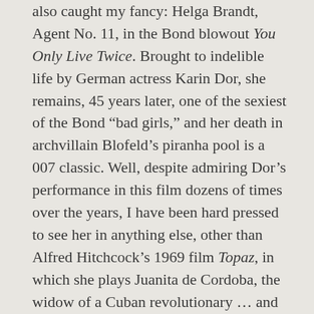also caught my fancy: Helga Brandt, Agent No. 11, in the Bond blowout You Only Live Twice. Brought to indelible life by German actress Karin Dor, she remains, 45 years later, one of the sexiest of the Bond “bad girls,” and her death in archvillain Blofeld’s piranha pool is a 007 classic. Well, despite admiring Dor’s performance in this film dozens of times over the years, I have been hard pressed to see her in anything else, other than Alfred Hitchcock’s 1969 film Topaz, in which she plays Juanita de Cordoba, the widow of a Cuban revolutionary … and a brunette, to boot. A happy day for me, then, when I found a DVD containing Dor’s next film after You Only Live Twice, 1967’s Torture Chamber of Dr. Sadism.
This German production opens with a scene strongly reminiscent of one to be found in Mario Bava’s 1960 classic Black Sunday, with the Count Regula (played by Mr. Tall, Dark and Gruesome himself, Christopher Lee)